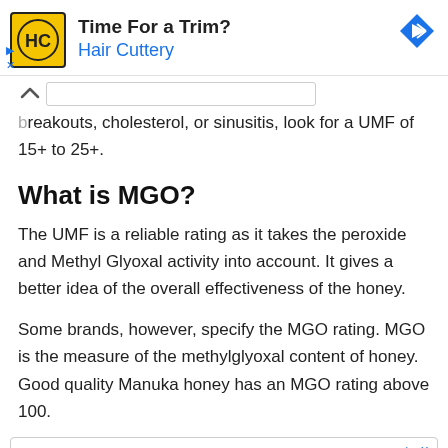[Figure (screenshot): Advertisement banner for Hair Cuttery with logo, title 'Time For a Trim?' and blue arrow icon]
...breakouts, cholesterol, or sinusitis, look for a UMF of 15+ to 25+.
What is MGO?
The UMF is a reliable rating as it takes the peroxide and Methyl Glyoxal activity into account. It gives a better idea of the overall effectiveness of the honey.
Some brands, however, specify the MGO rating. MGO is the measure of the methylglyoxal content of honey. Good quality Manuka honey has an MGO rating above 100.
[Figure (screenshot): Bottom advertisement banner area with ad controls]